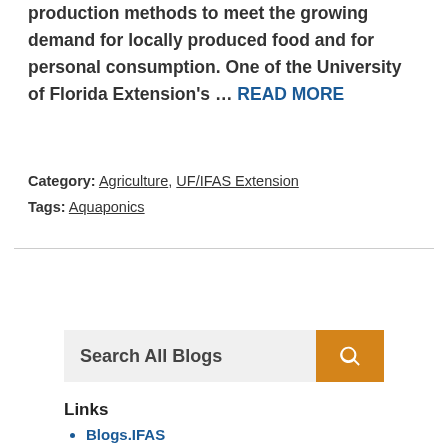production methods to meet the growing demand for locally produced food and for personal consumption. One of the University of Florida Extension's … READ MORE
Category: Agriculture, UF/IFAS Extension
Tags: Aquaponics
Search All Blogs
Links
Blogs.IFAS